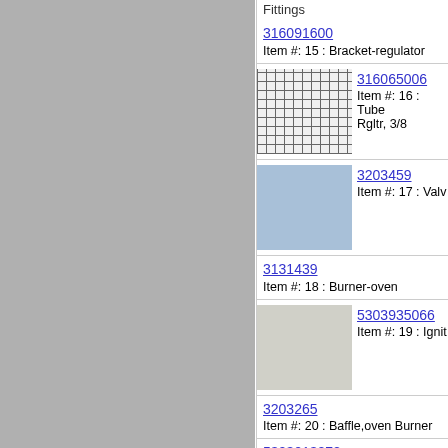Fittings
316091600
Item #: 15 : Bracket-regulator
316065006
Item #: 16 : Tube Rgltr, 3/8
3203459
Item #: 17 : Valve
3131439
Item #: 18 : Burner-oven
5303935066
Item #: 19 : Ignit
3203265
Item #: 20 : Baffle,oven Burner
5303013272
Item #: 21 : Nut,hex Head Sems
316069301
Item #: 37 : Screw Hex Washer Head
Replaces: 316069200